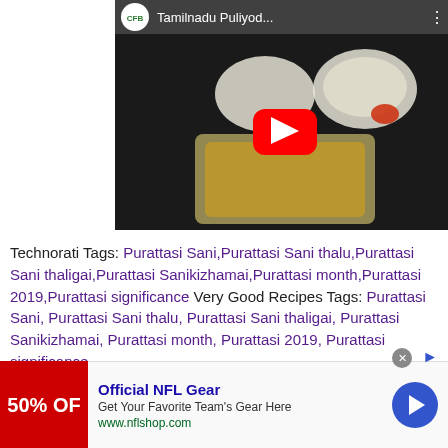[Figure (screenshot): YouTube video thumbnail showing Indian food (puliyodarai/tamarind rice) in a tray with title 'Tamilnadu Puliyod...' and CFB channel logo, with red play button overlay]
Technorati Tags: Purattasi Sani,Purattasi Sani thalu,Purattasi Sani thaligai,Purattasi Sanikizhamai,Purattasi month,Purattasi 2019,Purattasi significance Very Good Recipes Tags: Purattasi Sani, Purattasi Sani thalu, Purattasi Sani thaligai, Purattasi Sanikizhamai, Purattasi month, Purattasi 2019, Purattasi significance
[Figure (screenshot): Advertisement banner: Official NFL Gear - Get Your Favorite Team's Gear Here - www.nflshop.com - with red 50% OFF image on left and blue arrow button on right]